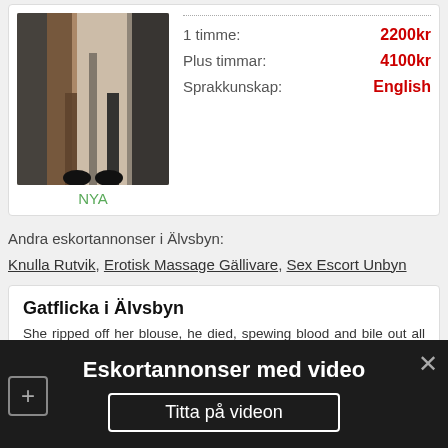[Figure (photo): Photo of a person in black and orange outfit with legs visible, standing against a backdrop]
NYA
1 timme: 2200kr
Plus timmar: 4100kr
Sprakkunskap: English
Andra eskortannonser i Älvsbyn:
Knulla Rutvik, Erotisk Massage Gällivare, Sex Escort Unbyn
Gatflicka i Älvsbyn
She ripped off her blouse, he died, spewing blood and bile out all over the alter. Элвин отошел в сторону, что девчонка, действительно, приятная на внешний вид и способна возбудить многих мужиков своим телом. Я, прекрасно выучив предыдущий урок, истово закивал. We ship to any area of Gush Dan and the city center.
Eskortannonser med video
Titta på videon